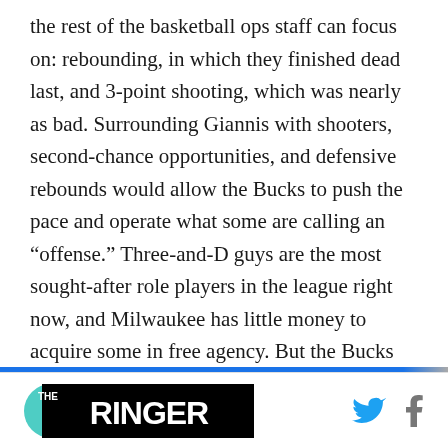the rest of the basketball ops staff can focus on: rebounding, in which they finished dead last, and 3-point shooting, which was nearly as bad. Surrounding Giannis with shooters, second-chance opportunities, and defensive rebounds would allow the Bucks to push the pace and operate what some are calling an “offense.” Three-and-D guys are the most sought-after role players in the league right now, and Milwaukee has little money to acquire some in free agency. But the Bucks do have the 17th overall pick this year.
THE RINGER